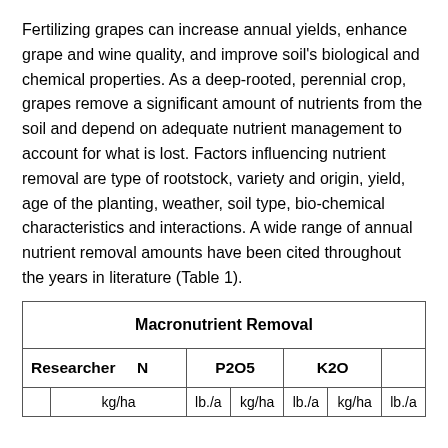Fertilizing grapes can increase annual yields, enhance grape and wine quality, and improve soil’s biological and chemical properties. As a deep-rooted, perennial crop, grapes remove a significant amount of nutrients from the soil and depend on adequate nutrient management to account for what is lost. Factors influencing nutrient removal are type of rootstock, variety and origin, yield, age of the planting, weather, soil type, bio-chemical characteristics and interactions. A wide range of annual nutrient removal amounts have been cited throughout the years in literature (Table 1).
| Researcher | N kg/ha | N lb./a | P2O5 kg/ha | P2O5 lb./a | K2O kg/ha | K2O lb./a |
| --- | --- | --- | --- | --- | --- | --- |